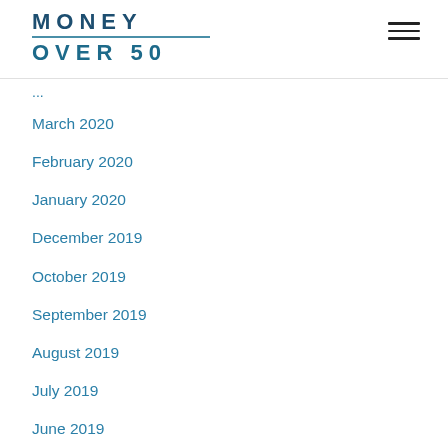MONEY OVER 50
March 2020
February 2020
January 2020
December 2019
October 2019
September 2019
August 2019
July 2019
June 2019